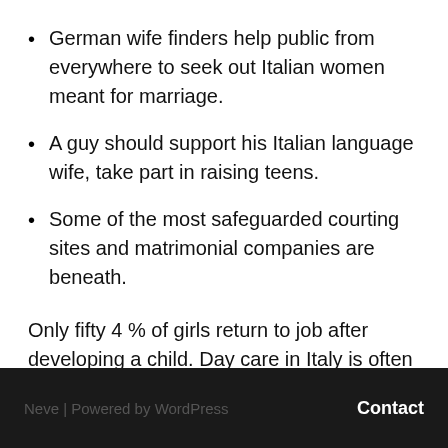German wife finders help public from everywhere to seek out Italian women meant for marriage.
A guy should support his Italian language wife, take part in raising teens.
Some of the most safeguarded courting sites and matrimonial companies are beneath.
Only fifty 4 % of girls return to job after developing a child. Day care in Italy is often grandparents.
Neve | Powered by WordPress   Contact